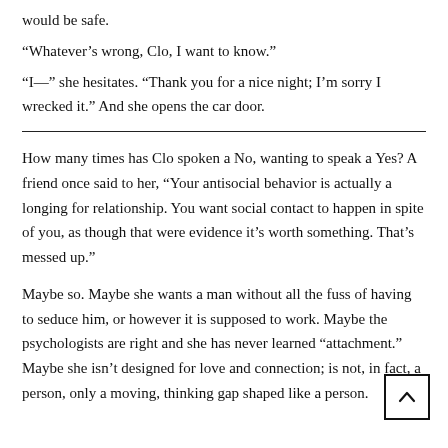would be safe.
“Whatever’s wrong, Clo, I want to know.”
“I—” she hesitates. “Thank you for a nice night; I’m sorry I wrecked it.” And she opens the car door.
How many times has Clo spoken a No, wanting to speak a Yes? A friend once said to her, “Your antisocial behavior is actually a longing for relationship. You want social contact to happen in spite of you, as though that were evidence it’s worth something. That’s messed up.”
Maybe so. Maybe she wants a man without all the fuss of having to seduce him, or however it is supposed to work. Maybe the psychologists are right and she has never learned “attachment.” Maybe she isn’t designed for love and connection; is not, in fact, a person, only a moving, thinking gap shaped like a person.